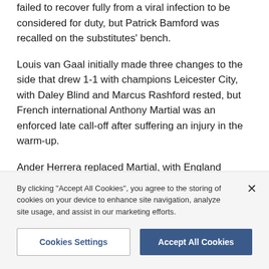failed to recover fully from a viral infection to be considered for duty, but Patrick Bamford was recalled on the substitutes' bench.
Louis van Gaal initially made three changes to the side that drew 1-1 with champions Leicester City, with Daley Blind and Marcus Rashford rested, but French international Anthony Martial was an enforced late call-off after suffering an injury in the warm-up.
Ander Herrera replaced Martial, with England captain Rooney pushed into a more advanced role.
By the start of a more...
By clicking "Accept All Cookies", you agree to the storing of cookies on your device to enhance site navigation, analyze site usage, and assist in our marketing efforts.